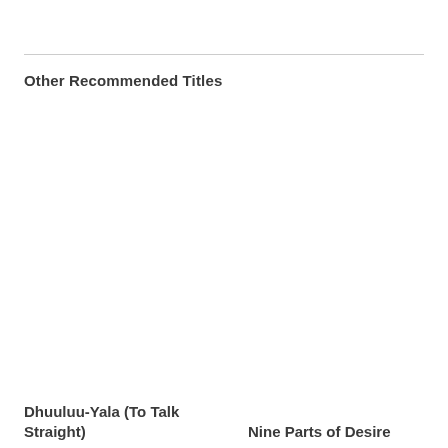Other Recommended Titles
Dhuuluu-Yala (To Talk Straight)
Nine Parts of Desire